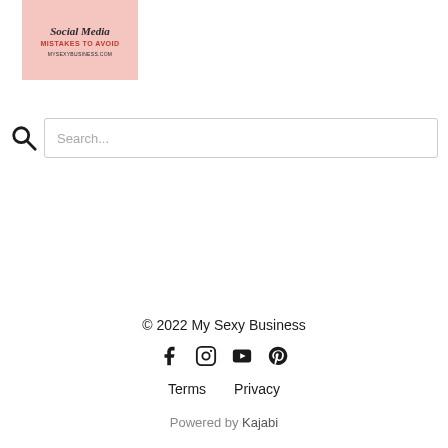[Figure (illustration): Pink background promotional card with italic script title 'Social Media', bold red subtitle 'MISTAKES TO AVOID', and URL 'MYSEXYBUSINESS.COM' at the bottom]
Search...
© 2022 My Sexy Business
[Figure (infographic): Row of four social media icons: Facebook (f), Instagram (circle with inner square), YouTube (play button in rounded rectangle), Pinterest (P)]
Terms   Privacy
Powered by Kajabi